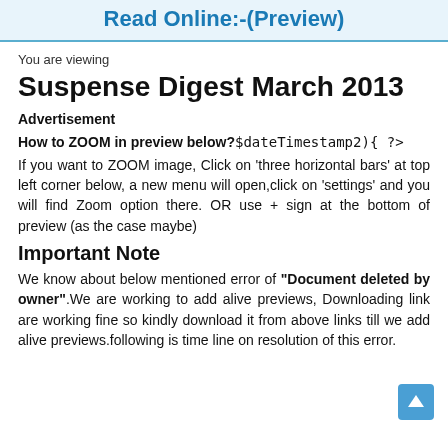Read Online:-(Preview)
You are viewing
Suspense Digest March 2013
Advertisement
How to ZOOM in preview below?$dateTimestamp2){ ?>
If you want to ZOOM image, Click on 'three horizontal bars' at top left corner below, a new menu will open,click on 'settings' and you will find Zoom option there. OR use + sign at the bottom of preview (as the case maybe)
Important Note
We know about below mentioned error of "Document deleted by owner".We are working to add alive previews, Downloading link are working fine so kindly download it from above links till we add alive previews.following is time line on resolution of this error.